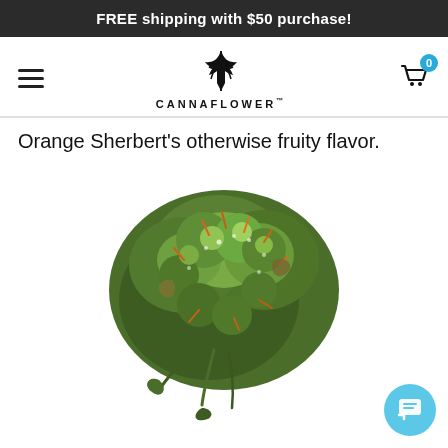FREE shipping with $50 purchase!
[Figure (screenshot): Cannaflower navigation bar with hamburger menu on left, cannabis leaf logo with CANNAFLOWER text in center, and shopping cart with '0' badge on right]
Orange Sherbert’s otherwise fruity flavor.
[Figure (photo): Close-up photograph of a dense green cannabis flower/bud with orange and red hairs, showing detailed trichomes and leaf structure on white background]